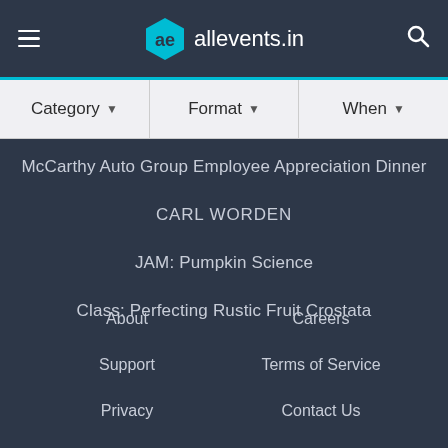allevents.in
Category ▼   Format ▼   When ▼
McCarthy Auto Group Employee Appreciation Dinner
CARL WORDEN
JAM: Pumpkin Science
Class: Perfecting Rustic Fruit Crostata
About
Careers
Support
Terms of Service
Privacy
Contact Us